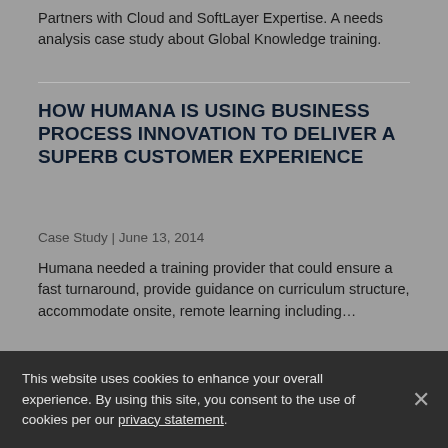Partners with Cloud and SoftLayer Expertise. A needs analysis case study about Global Knowledge training.
HOW HUMANA IS USING BUSINESS PROCESS INNOVATION TO DELIVER A SUPERB CUSTOMER EXPERIENCE
Case Study | June 13, 2014
Humana needed a training provider that could ensure a fast turnaround, provide guidance on curriculum structure, accommodate onsite, remote learning including…
This website uses cookies to enhance your overall experience. By using this site, you consent to the use of cookies per our privacy statement.
LARGE FINANCIAL SERVICES